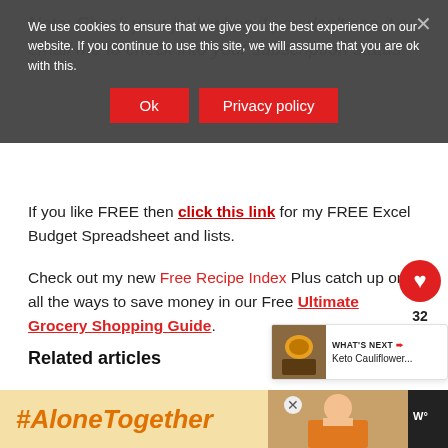Note: Check your junk when if you don't see it or email me to check into your subscription status.
We use cookies to ensure that we give you the best experience on our website. If you continue to use this site, we will assume that you are ok with this.
If you like FREE then click this link for my FREE Excel Budget Spreadsheet and lists.
Check out my new Free Recipe Index Plus catch up on all the ways to save money in our Free Ultimate Grocery Shopping Guide.
Related articles
Low Carb baked stuffed zucchini roll
Keto Cookies Crunchy Chocolate Biscotti
[Figure (other): What's Next widget showing Keto Cauliflower article thumbnail]
[Figure (other): Bottom ad banner with #AloneTogether text and person photo]